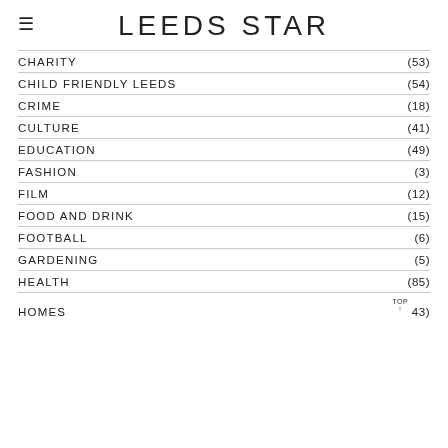LEEDS STAR
CHARITY (53)
CHILD FRIENDLY LEEDS (54)
CRIME (18)
CULTURE (41)
EDUCATION (49)
FASHION (3)
FILM (12)
FOOD AND DRINK (15)
FOOTBALL (6)
GARDENING (5)
HEALTH (85)
HOMES TOP↑ 43)